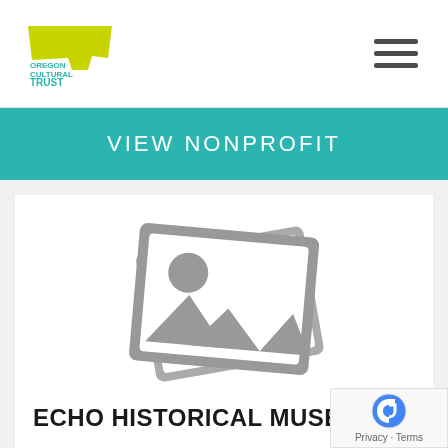Oregon Cultural Trust logo and navigation menu
VIEW NONPROFIT
[Figure (illustration): Placeholder image icon showing two overlapping photo frames with a sun/circle and mountain shapes, in gray tones]
ECHO HISTORICAL MUSEUM